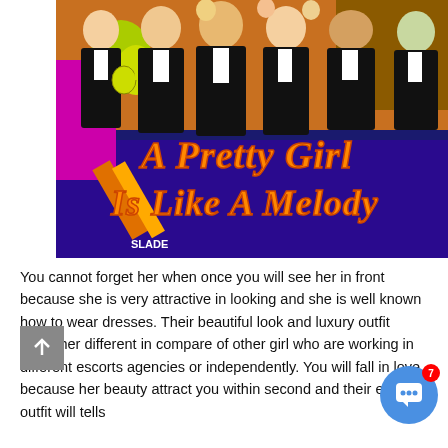[Figure (illustration): Colorful cartoon/illustration of men in tuxedos with text overlay reading 'A Pretty Girl Is Like A Melody' in orange script lettering. Artist signature 'SLADE' visible bottom left. Background features musicians and figures in formal wear with bright colors.]
You cannot forget her when once you will see her in front because she is very attractive in looking and she is well known how to wear dresses. Their beautiful look and luxury outfit make her different in compare of other girl who are working in different escorts agencies or independently. You will fall in love because her beauty attract you within second and their erotic outfit will tells